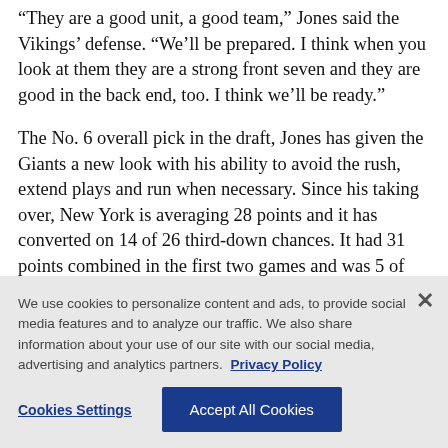“They are a good unit, a good team,” Jones said the Vikings’ defense. “We’ll be prepared. I think when you look at them they are a strong front seven and they are good in the back end, too. I think we’ll be ready.”
The No. 6 overall pick in the draft, Jones has given the Giants a new look with his ability to avoid the rush, extend plays and run when necessary. Since his taking over, New York is averaging 28 points and it has converted on 14 of 26 third-down chances. It had 31 points combined in the first two games and was 5 of
We use cookies to personalize content and ads, to provide social media features and to analyze our traffic. We also share information about your use of our site with our social media, advertising and analytics partners. Privacy Policy